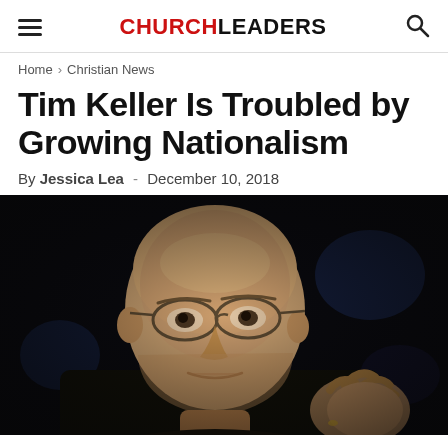CHURCHLEADERS
Home › Christian News
Tim Keller Is Troubled by Growing Nationalism
By Jessica Lea - December 10, 2018
[Figure (photo): Close-up photo of Tim Keller, a bald man wearing glasses and dark clothing, gesturing with his right hand against a dark background.]